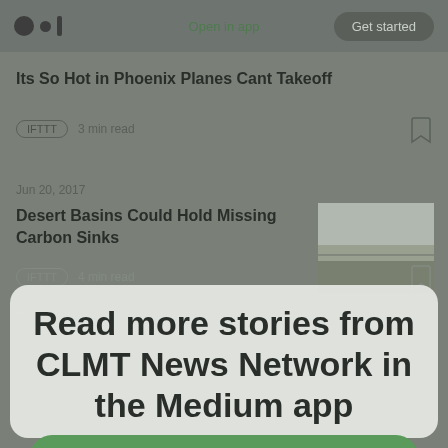Open in app   Get started
Its So Hot in Phoenix Planes Cant Takeoff
IFTTT  3 min read
Jun 20, 2017
Desert Basins Could Hold Missing Carbon Sinks
IFTTT  4 min read
Read more stories from CLMT News Network in the Medium app
Its So Hot in Phoenix Planes Cant Takeoff
GET THE APP